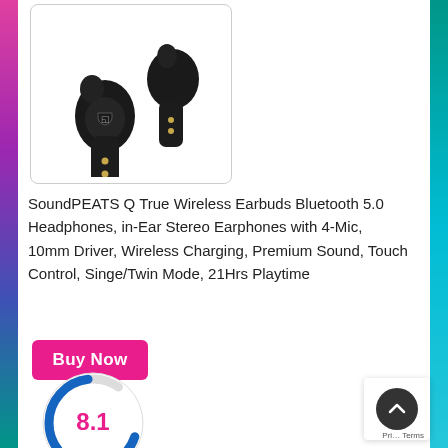[Figure (photo): Two black SoundPEATS Q true wireless earbuds shown on white background with rounded-rectangle border]
SoundPEATS Q True Wireless Earbuds Bluetooth 5.0 Headphones, in-Ear Stereo Earphones with 4-Mic, 10mm Driver, Wireless Charging, Premium Sound, Touch Control, Singe/Twin Mode, 21Hrs Playtime
[Figure (other): Pink 'Buy Now' button with rounded corners]
[Figure (other): Score circle showing rating 8.1 with blue and grey ring]